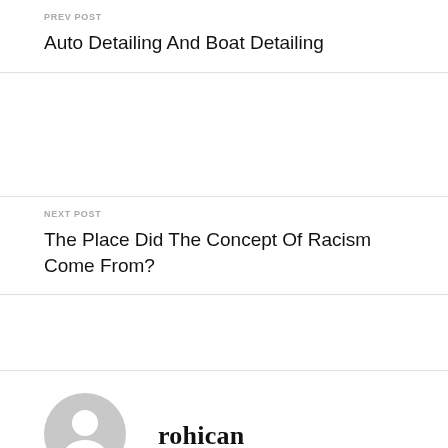PREV POST
Auto Detailing And Boat Detailing
NEXT POST
The Place Did The Concept Of Racism Come From?
[Figure (illustration): Gray circular avatar placeholder icon showing a generic user silhouette]
rohican